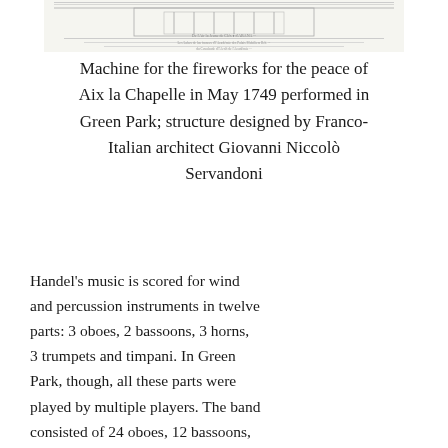[Figure (illustration): Historical engraving or architectural drawing of a machine/structure for fireworks, showing decorative elements with text annotations at top and bottom.]
Machine for the fireworks for the peace of Aix la Chapelle in May 1749 performed in Green Park; structure designed by Franco-Italian architect Giovanni Niccolò Servandoni
Handel's music is scored for wind and percussion instruments in twelve parts: 3 oboes, 2 bassoons, 3 horns, 3 trumpets and timpani. In Green Park, though, all these parts were played by multiple players. The band consisted of 24 oboes, 12 bassoons, 9 horns, 9 trumpets, 3 sets of timpani and - probably - extra instruments such as serpents, side drums and huge "double drums". For later